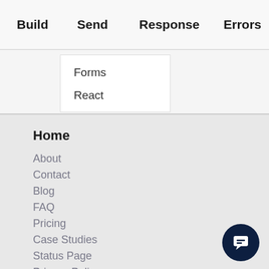Build   Send   Response   Errors
Forms
React
Home
About
Contact
Blog
FAQ
Pricing
Case Studies
Status Page
Privacy Policy
Terms & Conditions